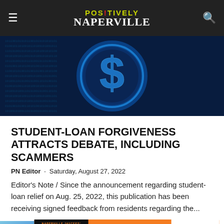POS!TIVELY NAPERVILLE
[Figure (photo): Dark blue digital background with glowing blue dollar sign symbol in circular design, binary/matrix code in background]
STUDENT-LOAN FORGIVENESS ATTRACTS DEBATE, INCLUDING SCAMMERS
PN Editor - Saturday, August 27, 2022
Editor's Note / Since the announcement regarding student-loan relief on Aug. 25, 2022, this publication has been receiving signed feedback from residents regarding the...
[Figure (photo): Advertisement banner: Naperville Jaycees LAST FLING LABOR DAY WEEKEND FREE ADMISSION. Music, Food & Family Fun!]